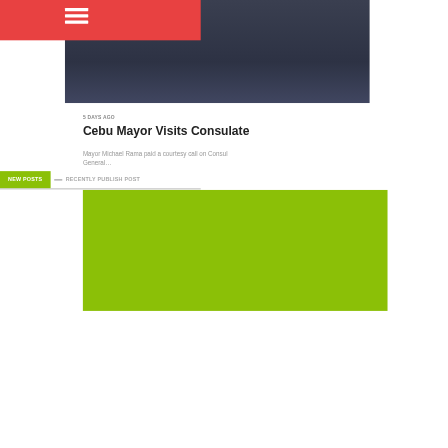[Figure (screenshot): Dark navy/blue-grey gradient rectangle representing a website header image placeholder]
5 DAYS AGO
Cebu Mayor Visits Consulate
Mayor Michael Rama paid a courtesy call on Consul General …
NEW POSTS — RECENTLY PUBLISH POST
[Figure (photo): Green (olive/lime) rectangle representing an article image placeholder with a date badge showing '26 August']